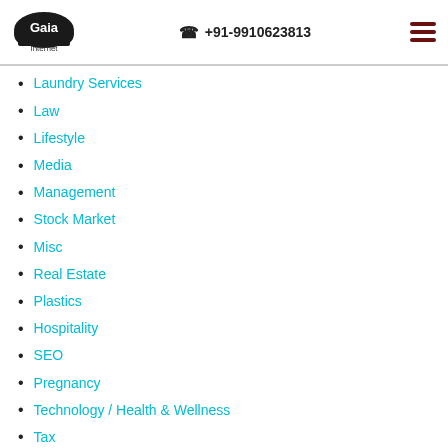Gaia Internet | +91-9910623813
Laundry Services
Law
Lifestyle
Media
Management
Stock Market
Misc
Real Estate
Plastics
Hospitality
SEO
Pregnancy
Technology / Health & Wellness
Tax
Advertising